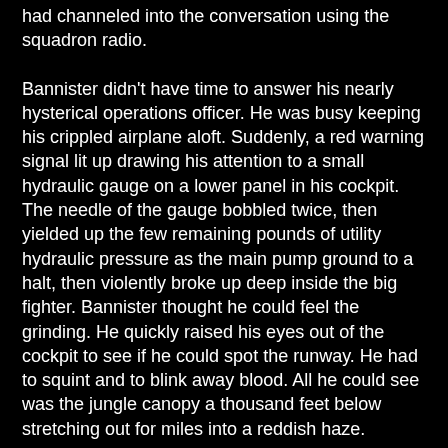had channeled into the conversation using the squadron radio.
Bannister didn't have time to answer his nearly hysterical operations officer. He was busy keeping his crippled airplane aloft. Suddenly, a red warning signal lit up drawing his attention to a small hydraulic gauge on a lower panel in his cockpit. The needle of the gauge bobbled twice, then yielded up the few remaining pounds of utility hydraulic pressure as the main pump ground to a halt, then violently broke up deep inside the big fighter. Bannister thought he could feel the grinding. He quickly raised his eyes out of the cockpit to see if he could spot the runway. He had to squint and to blink away blood. All he could see was the jungle canopy a thousand feet below stretching out for miles into a reddish haze.
Several slugs from a big quad-barrel Russian ZSU-4 12.7mm antiaircraft gun had stitched his Super Sabre from scoop shovel nose to just short of the tail section. They had punctured and ripped tubing and control lines causing a loss of hydraulic fluid which required Bannister to engage his